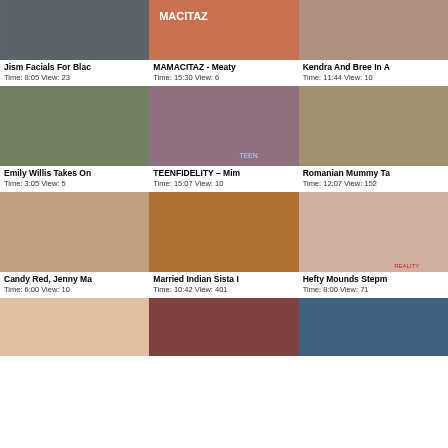[Figure (photo): Video thumbnail grid item 1]
Jism Facials For Blac
Time: 8:05 View: 23
[Figure (photo): Video thumbnail grid item 2]
MAMACITAZ - Meaty
Time: 15:30 View: 6
[Figure (photo): Video thumbnail grid item 3]
Kendra And Bree In A
Time: 11:44 View: 10
[Figure (photo): Video thumbnail grid item 4]
Emily Willis Takes On
Time: 3:05 View: 5
[Figure (photo): Video thumbnail grid item 5]
TEENFIDELITY – Mim
Time: 15:07 View: 10
[Figure (photo): Video thumbnail grid item 6]
Romanian Mummy Ta
Time: 12:07 View: 152
[Figure (photo): Video thumbnail grid item 7]
Candy Red, Jenny Ma
Time: 6:00 View: 10
[Figure (photo): Video thumbnail grid item 8]
Married Indian Sista I
Time: 10:42 View: 401
[Figure (photo): Video thumbnail grid item 9]
Hefty Mounds Stepm
Time: 8:00 View: 71
[Figure (photo): Video thumbnail grid item 10]
[Figure (photo): Video thumbnail grid item 11]
[Figure (photo): Video thumbnail grid item 12]